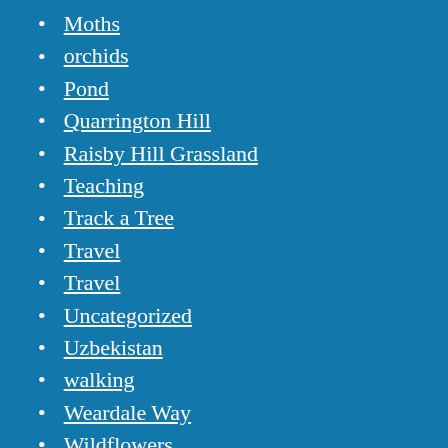Moths
orchids
Pond
Quarrington Hill
Raisby Hill Grassland
Teaching
Track a Tree
Travel
Travel
Uncategorized
Uzbekistan
walking
Weardale Way
Wildflowers
wildlife gardening